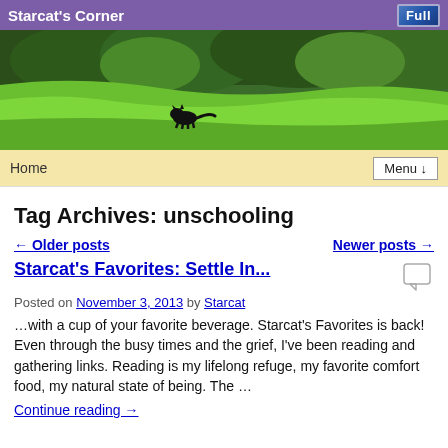Starcat's Corner
[Figure (photo): Hero image of a black cat walking across a green grassy field with trees in the background]
Home   Menu ↓
Tag Archives: unschooling
← Older posts   Newer posts →
Starcat's Favorites: Settle In...
Posted on November 3, 2013 by Starcat
…with a cup of your favorite beverage. Starcat's Favorites is back! Even through the busy times and the grief, I've been reading and gathering links. Reading is my lifelong refuge, my favorite comfort food, my natural state of being. The …
Continue reading →